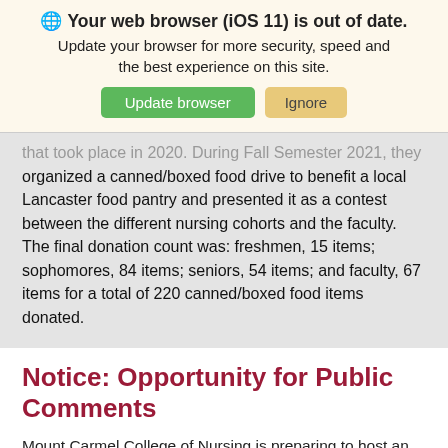[Figure (screenshot): Browser update notification banner with globe icon, bold warning text 'Your web browser (iOS 11) is out of date.', subtitle text, and two buttons: 'Update browser' (green) and 'Ignore' (tan/yellow).]
that took place in 2020. During Fall Semester 2021, they organized a canned/boxed food drive to benefit a local Lancaster food pantry and presented it as a contest between the different nursing cohorts and the faculty. The final donation count was: freshmen, 15 items; sophomores, 84 items; seniors, 54 items; and faculty, 67 items for a total of 220 canned/boxed food items donated.
Notice: Opportunity for Public Comments
Mount Carmel College of Nursing is preparing to host an